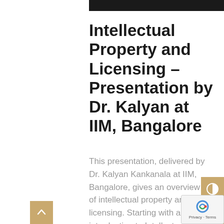Intellectual Property and Licensing – Presentation by Dr. Kalyan at IIM, Bangalore
This presentation, delivered by Dr. Kalyan Kankanala at IIM, Bangalore, gives an overview of intellectual property and licensing. Starting with an introduction to Intellectual Property and its species, Dr. Kalyan introduces some licensing concepts. Through recent cases and examples, Dr. Kalyan provides a basic